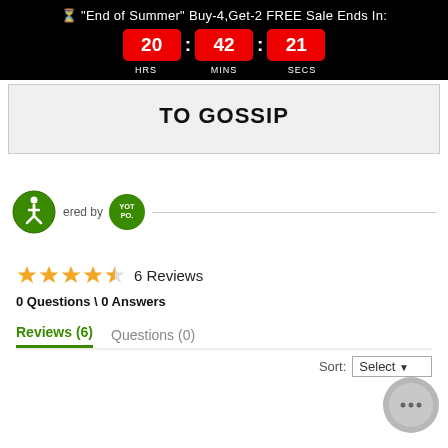"End of Summer" Buy-4,Get-2 FREE Sale Ends In: 20 : 42 : 21 HRS MINS SECS
TO GOSSIP
[Figure (logo): Accessibility icon (green circle with wheelchair user) and Yotpo badge logo, with 'Powered by' text and horizontal line]
6 Reviews
0 Questions \ 0 Answers
Reviews (6)   Questions (0)
Sort: Select